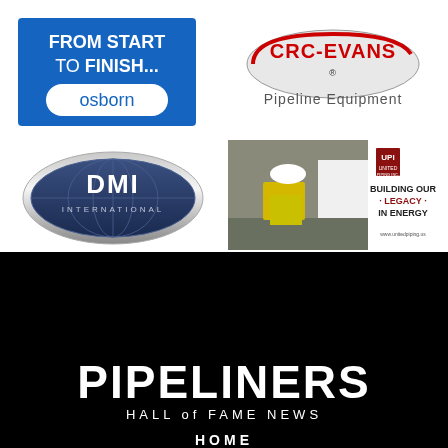[Figure (logo): Osborn logo: blue rectangle with text 'FROM START TO FINISH...' in white and 'osborn' in white on a pill-shaped white background]
[Figure (logo): CRC-Evans Pipeline Equipment logo: red oval with 'CRC-EVANS' text and 'Pipeline Equipment' below]
[Figure (logo): DMI International logo: dark blue oval with globe graphic and 'DMI INTERNATIONAL' text]
[Figure (photo): United Piping Inc. advertisement showing worker in hard hat and safety vest with text 'BUILDING OUR LEGACY IN ENERGY' and 'www.unitedpiping.us']
PIPELINERS
HALL of FAME NEWS
HOME